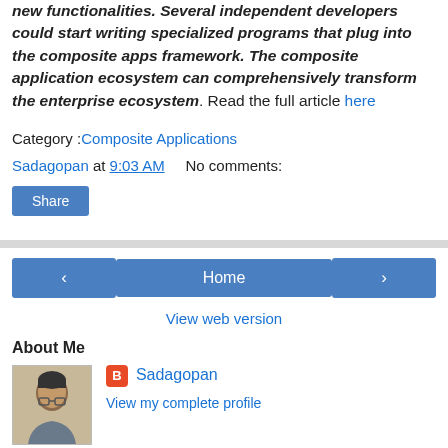new functionalities. Several independent developers could start writing specialized programs that plug into the composite apps framework. The composite application ecosystem can comprehensively transform the enterprise ecosystem. Read the full article here
Category :Composite Applications
Sadagopan at 9:03 AM    No comments:
Share
Home
View web version
About Me
[Figure (photo): Profile photo of Sadagopan]
Sadagopan
View my complete profile